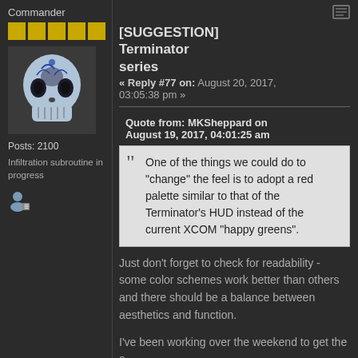Commander
[Figure (other): Five yellow rank stars/squares]
[Figure (photo): Avatar photo of a decorative blue and white sugar skull]
Posts: 2100
Infiltration subroutine in progress
[Figure (other): Small user/profile icon]
[Figure (other): Small page/document icon in top right]
[SUGGESTION] Terminator series
« Reply #77 on: August 20, 2017, 03:05:38 pm »
Quote from: MKSheppard on August 19, 2017, 04:01:25 am
One of the things we could do to "change" the feel is to adopt a red palette similar to that of the Terminator's HUD instead of the current XCOM "happy greens".
Just don't forget to check for readability - some color schemes work better than others and there should be a balance between aesthetics and function.
I've been working over the weekend to get the a